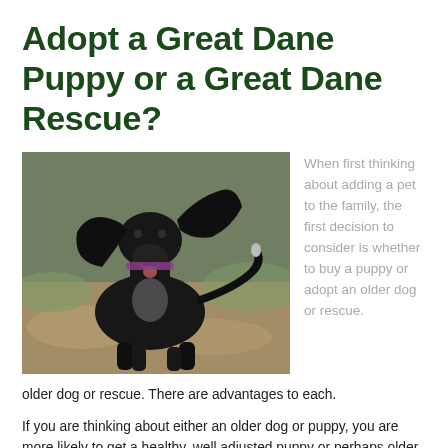Adopt a Great Dane Puppy or a Great Dane Rescue?
[Figure (photo): A black Great Dane dog outdoors on a grassy/dirt area, ears flopping, tail visible, wearing a collar.]
When first thinking about adding a pet to the family, the first decision to consider is whether to buy a puppy or adopt an older dog or rescue. There are advantages to each.
If you are thinking about either an older dog or puppy, you are more likely to get a healthy, well adjusted puppy or perhaps older dog from a reputable breeder. It would be best not to support pet